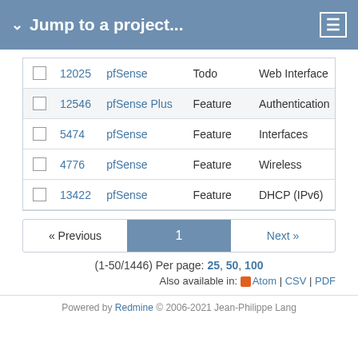Jump to a project...
|  | # | Project | Tracker | Category |
| --- | --- | --- | --- | --- |
|  | 12025 | pfSense | Todo | Web Interface |
|  | 12546 | pfSense Plus | Feature | Authentication |
|  | 5474 | pfSense | Feature | Interfaces |
|  | 4776 | pfSense | Feature | Wireless |
|  | 13422 | pfSense | Feature | DHCP (IPv6) |
« Previous  1  Next »
(1-50/1446) Per page: 25, 50, 100
Also available in: Atom | CSV | PDF
Powered by Redmine © 2006-2021 Jean-Philippe Lang